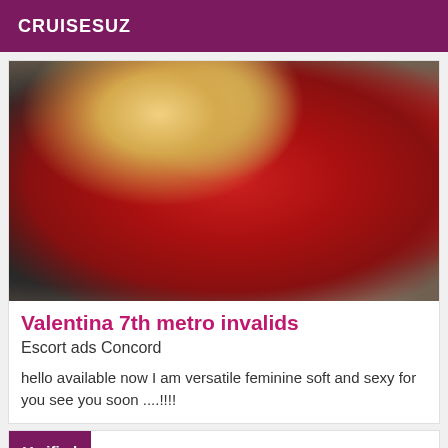CRUISESUZ
[Figure (photo): A person wearing a red top with blonde hair, seated, with fishnet stockings visible.]
Valentina 7th metro invalids
Escort ads Concord
hello available now I am versatile feminine soft and sexy for you see you soon ....!!!!
Verified